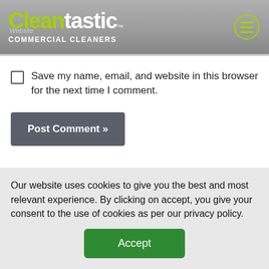[Figure (logo): Cleantastic Commercial Cleaners logo with green leaf, white and green text on grey gradient header, with hamburger menu icon]
Save my name, email, and website in this browser for the next time I comment.
Post Comment »
Recent posts
Our website uses cookies to give you the best and most relevant experience. By clicking on accept, you give your consent to the use of cookies as per our privacy policy.
Accept